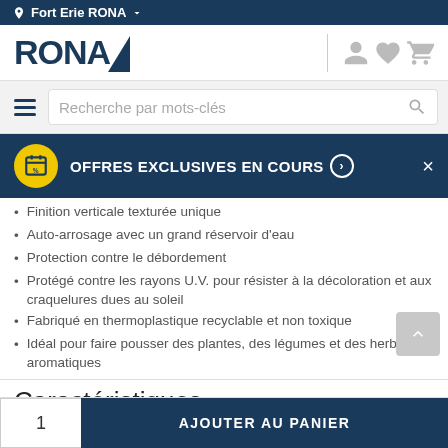Fort Erie RONA
[Figure (logo): RONA logo in dark navy blue with geometric triangle accent]
Recherche par mots-clés
OFFRES EXCLUSIVES EN COURS
Finition verticale texturée unique
Auto-arrosage avec un grand réservoir d'eau
Protection contre le débordement
Protégé contre les rayons U.V. pour résister à la décoloration et aux craquelures dues au soleil
Fabriqué en thermoplastique recyclable et non toxique
Idéal pour faire pousser des plantes, des légumes et des herbes aromatiques
Caractéristiques
1   AJOUTER AU PANIER